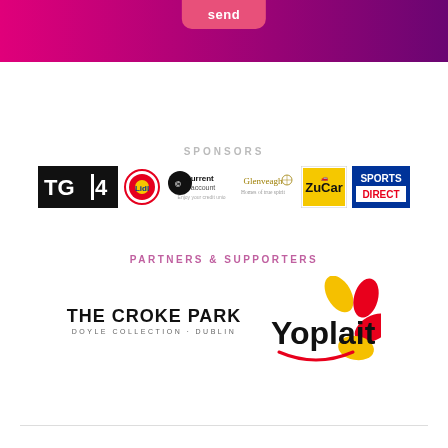[Figure (other): Pink to purple gradient header bar with a send button tab at top center]
SPONSORS
[Figure (logo): Row of sponsor logos: TG4, Lidl, Current Account, Glenveagh, ZuCar, Sports Direct]
PARTNERS & SUPPORTERS
[Figure (logo): The Croke Park (Doyle Collection · Dublin) logo and Yoplait logo side by side]